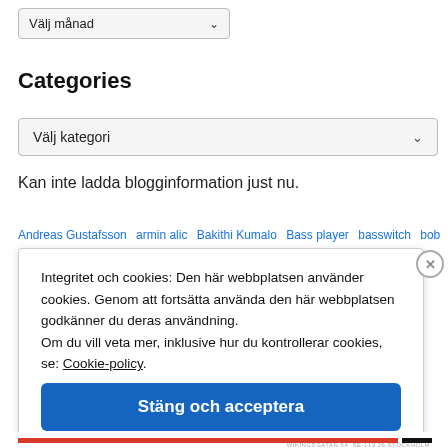Välj månad
Categories
Välj kategori
Kan inte ladda blogginformation just nu.
Andreas Gustafsson  armin alic  Bakithi Kumalo  Bass player  basswitch  bob
Integritet och cookies: Den här webbplatsen använder cookies. Genom att fortsätta använda den här webbplatsen godkänner du deras användning.
Om du vill veta mer, inklusive hur du kontrollerar cookies, se: Cookie-policy.
Stäng och acceptera